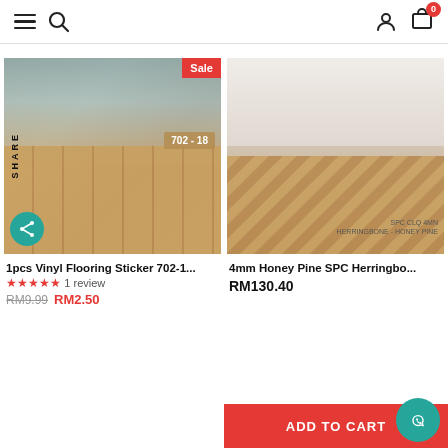Navigation bar with hamburger menu, search, user icon, and cart (0 items)
[Figure (photo): Room with wood vinyl flooring sticker product 702-18, with Sale badge]
1pcs Vinyl Flooring Sticker 702-1...
★★★★★ 1 review
RM9.99  RM2.50
[Figure (photo): Living room with SPC CLQ 4MN Herringbone - Honey Pine flooring]
4mm Honey Pine SPC Herringbo...
RM130.40
ADD TO CART